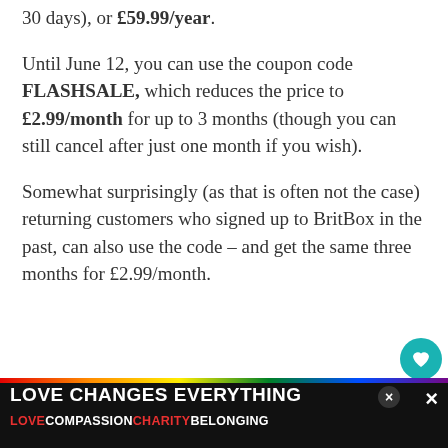30 days), or £59.99/year.
Until June 12, you can use the coupon code FLASHSALE, which reduces the price to £2.99/month for up to 3 months (though you can still cancel after just one month if you wish).
Somewhat surprisingly (as that is often not the case) returning customers who signed up to BritBox in the past, can also use the code – and get the same three months for £2.99/month.
[Figure (other): Advertisement banner with rainbow stripe at top, text 'LOVE CHANGES EVERYTHING' in white bold uppercase on dark background, and subtitle 'LOVE COMPASSION CHARITY BELONGING' with colored text. Close buttons visible.]